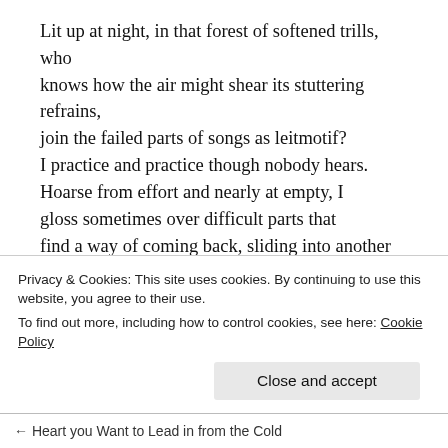Lit up at night, in that forest of softened trills, who knows how the air might shear its stuttering refrains, join the failed parts of songs as leitmotif? I practice and practice though nobody hears. Hoarse from effort and nearly at empty, I gloss sometimes over difficult parts that find a way of coming back, sliding into another edge of passage. Nothing ever stays still: do you see how the moon shimmers, then clears a path for the screech owl's call? Bright, brassy, or somber rounding in the mouth— answer that burns salt shapes on the tongue.
Privacy & Cookies: This site uses cookies. By continuing to use this website, you agree to their use. To find out more, including how to control cookies, see here: Cookie Policy
Close and accept
← Heart you Want to Lead in from the Cold